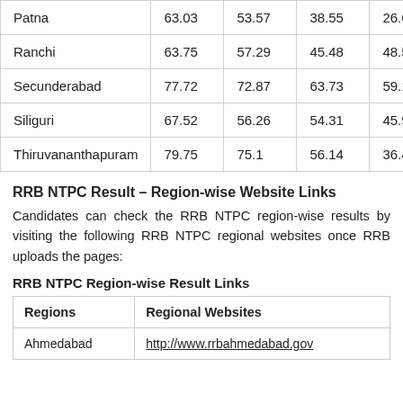| Patna | 63.03 | 53.57 | 38.55 | 26.69 |
| Ranchi | 63.75 | 57.29 | 45.48 | 48.58 |
| Secunderabad | 77.72 | 72.87 | 63.73 | 59.13 |
| Siliguri | 67.52 | 56.26 | 54.31 | 45.9 |
| Thiruvananthapuram | 79.75 | 75.1 | 56.14 | 36.45 |
RRB NTPC Result – Region-wise Website Links
Candidates can check the RRB NTPC region-wise results by visiting the following RRB NTPC regional websites once RRB uploads the pages:
RRB NTPC Region-wise Result Links
| Regions | Regional Websites |
| --- | --- |
| Ahmedabad | http://www.rrbahmedabad.gov... |